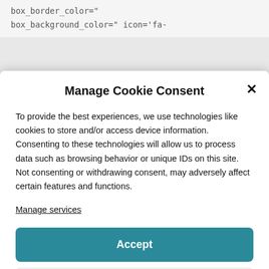box_border_color="
box_background_color=" icon='fa-
Manage Cookie Consent
To provide the best experiences, we use technologies like cookies to store and/or access device information. Consenting to these technologies will allow us to process data such as browsing behavior or unique IDs on this site. Not consenting or withdrawing consent, may adversely affect certain features and functions.
Manage services
Accept
Deny
View preferences
Cookie Policy   Privacy Policy – Terms of Service